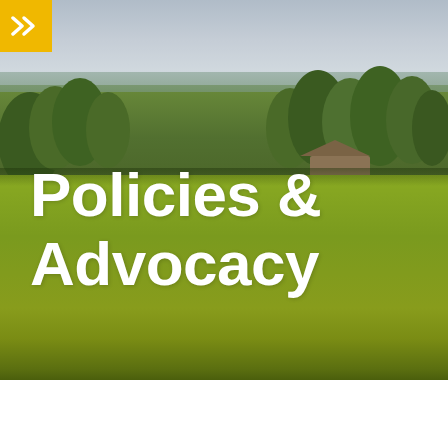[Figure (photo): Aerial/landscape photograph of a green field with trees and water/sky in the background. A yellow box with double chevron arrows appears in the top-left corner. Large white bold text reading 'Policies & Advocacy' overlays the lower portion of the photo.]
Policies & Advocacy